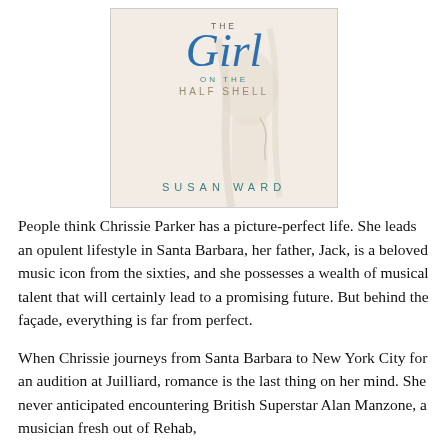[Figure (illustration): Book cover of 'The Girl on the Half Shell' by Susan Ward. Features a stylized title in blue script and teal sans-serif lettering, with a partial figure of a woman in the background. Light beige/cream background tones.]
People think Chrissie Parker has a picture-perfect life. She leads an opulent lifestyle in Santa Barbara, her father, Jack, is a beloved music icon from the sixties, and she possesses a wealth of musical talent that will certainly lead to a promising future. But behind the façade, everything is far from perfect.
When Chrissie journeys from Santa Barbara to New York City for an audition at Juilliard, romance is the last thing on her mind. She never anticipated encountering British Superstar Alan Manzone, a musician fresh out of Rehab,